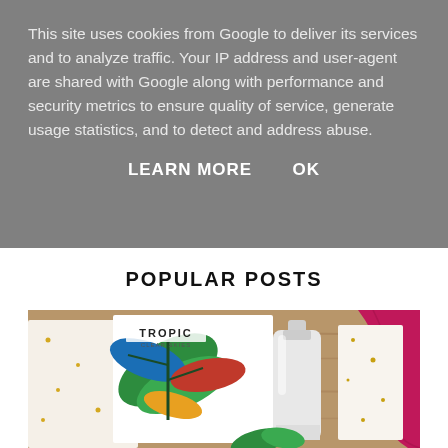This site uses cookies from Google to deliver its services and to analyze traffic. Your IP address and user-agent are shared with Google along with performance and security metrics to ensure quality of service, generate usage statistics, and to detect and address abuse.
LEARN MORE    OK
POPULAR POSTS
[Figure (photo): Flat lay photo of Tropic Clear Skies skincare product packaging with colorful tropical leaf design, a white pump bottle, pink ribbon, and green leaves on a wooden surface.]